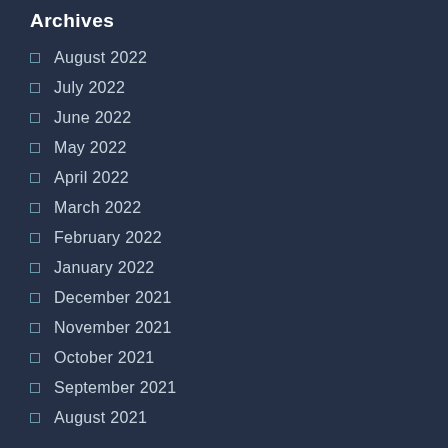Archives
August 2022
July 2022
June 2022
May 2022
April 2022
March 2022
February 2022
January 2022
December 2021
November 2021
October 2021
September 2021
August 2021